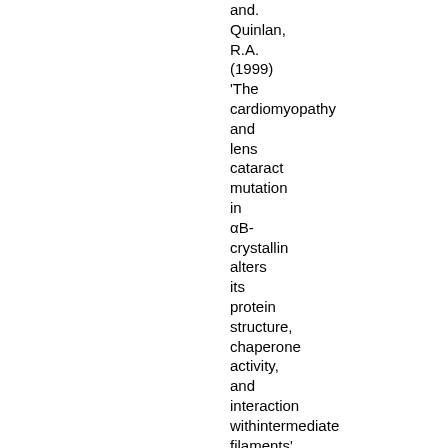and. Quinlan, R.A. (1999) 'The cardiomyopathy and lens cataract mutation in αB-crystallin alters its protein structure, chaperone activity, and interaction withintermediate filaments'